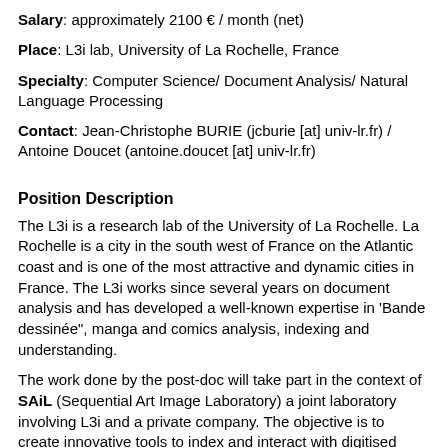Salary: approximately 2100 € / month (net)
Place: L3i lab, University of La Rochelle, France
Specialty: Computer Science/ Document Analysis/ Natural Language Processing
Contact: Jean-Christophe BURIE (jcburie [at] univ-lr.fr) / Antoine Doucet (antoine.doucet [at] univ-lr.fr)
Position Description
The L3i is a research lab of the University of La Rochelle. La Rochelle is a city in the south west of France on the Atlantic coast and is one of the most attractive and dynamic cities in France. The L3i works since several years on document analysis and has developed a well-known expertise in ‘Bande dessinée", manga and comics analysis, indexing and understanding.
The work done by the post-doc will take part in the context of SAiL (Sequential Art Image Laboratory) a joint laboratory involving L3i and a private company. The objective is to create innovative tools to index and interact with digitised